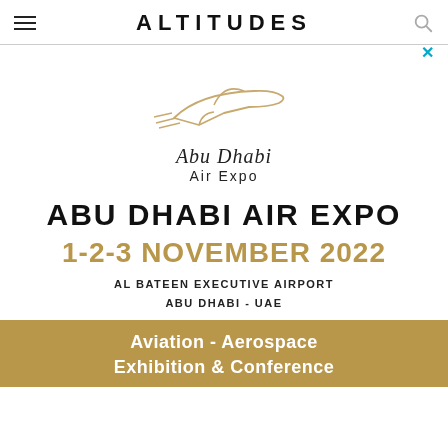ALTITUDES
[Figure (logo): Abu Dhabi Air Expo logo: stylized outline of a plane in gold/tan, with script text 'Abu Dhabi' and sans-serif 'Air Expo' below]
ABU DHABI AIR EXPO
1-2-3 NOVEMBER 2022
AL BATEEN EXECUTIVE AIRPORT
ABU DHABI - UAE
Aviation - Aerospace Exhibition & Conference